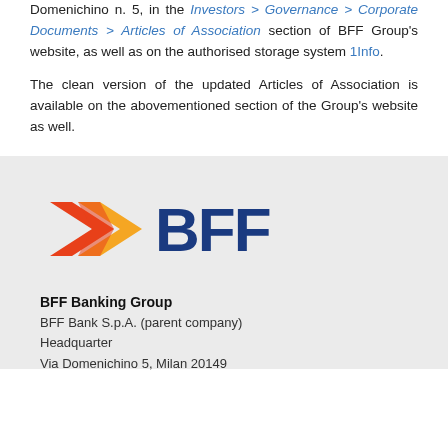Domenichino n. 5, in the Investors > Governance > Corporate Documents > Articles of Association section of BFF Group's website, as well as on the authorised storage system 1Info.
The clean version of the updated Articles of Association is available on the abovementioned section of the Group's website as well.
[Figure (logo): BFF Banking Group logo with orange and red chevron arrow and dark blue BFF text]
BFF Banking Group
BFF Bank S.p.A. (parent company)
Headquarter
Via Domenichino 5, Milan 20149